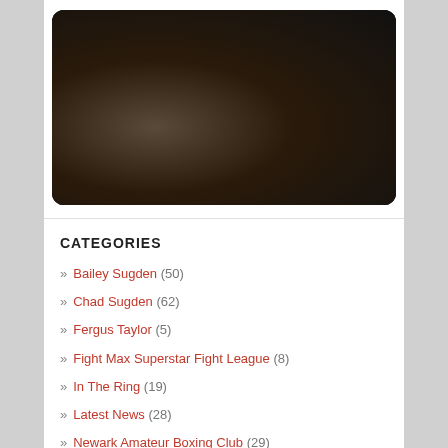[Figure (photo): Photo of three men posing together at what appears to be an indoor arena or venue. The man on the left wears a patterned shirt, the man in the middle wears a dark cap, and the man on the right wears a dark suit jacket.]
CATEGORIES
Bailey Sugden (50)
Chad Sugden (62)
Fergus Taylor (5)
Fight Max Superstar Fight League (8)
In The Ring (19)
Latest News (28)
Newark Amateur Boxing Club (29)
Regis Sugden (27)